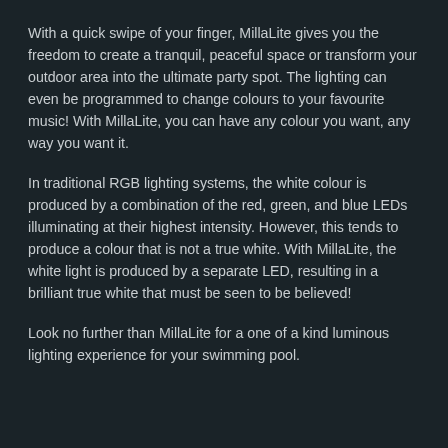With a quick swipe of your finger, MillaLite gives you the freedom to create a tranquil, peaceful space or transform your outdoor area into the ultimate party spot. The lighting can even be programmed to change colours to your favourite music! With MillaLite, you can have any colour you want, any way you want it.
In traditional RGB lighting systems, the white colour is produced by a combination of the red, green, and blue LEDs illuminating at their highest intensity. However, this tends to produce a colour that is not a true white. With MillaLite, the white light is produced by a separate LED, resulting in a brilliant true white that must be seen to be believed!
Look no further than MillaLite for a one of a kind luminous lighting experience for your swimming pool.